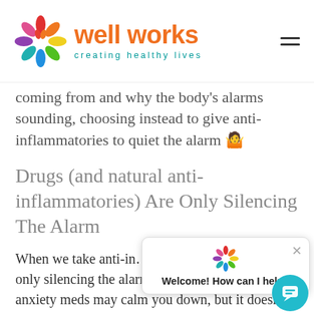[Figure (logo): Well Works logo with colorful flower petals and orange/teal brand name 'well works creating healthy lives']
coming from and why the body's alarms sounding, choosing instead to give anti-inflammatories to quiet the alarm 🤷
Drugs (and natural anti-inflammatories) Are Only Silencing The Alarm
When we take anti-in… pharmaceutical, we are only silencing the alarm. Just as taking anti-anxiety meds may calm you down, but it doesn't address why you are experiencing the anxiety in the first place.